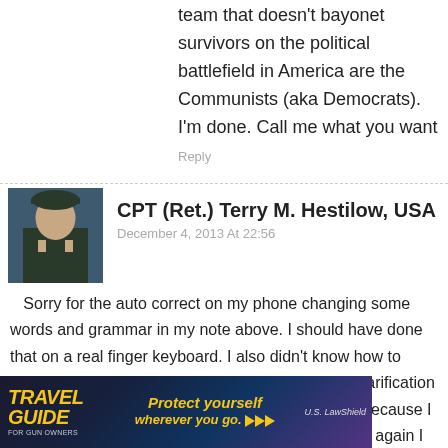team that doesn't bayonet survivors on the political battlefield in America are the Communists (aka Democrats). I'm done. Call me what you want
Reply
CPT (Ret.) Terry M. Hestilow, USA
December 4, 2013 At 22:56
Sorry for the auto correct on my phone changing some words and grammar in my note above. I should have done that on a real finger keyboard. I also didn't know how to make paragraphing work on this venue. Word of clarification is also in order concerning Drill Sergeant School. Because I accepted reappointment as a commissioned officer again I was no longer authorized to attend DSS.
[Figure (photo): Advertisement banner: Travel Guide for Gun Owners, with text 'Protect yourself wherever you go.' and US LawShield branding]